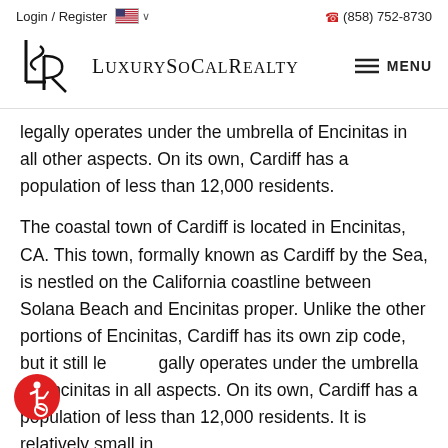Login / Register  🇺🇸  ∨     ☎ (858) 752-8730
[Figure (logo): LuxurySoCalRealty logo with stylized LSR monogram and serif wordmark LUXURYSOCALREALTY. Menu hamburger icon on the right.]
legally operates under the umbrella of Encinitas in all other aspects. On its own, Cardiff has a population of less than 12,000 residents.
The coastal town of Cardiff is located in Encinitas, CA. This town, formally known as Cardiff by the Sea, is nestled on the California coastline between Solana Beach and Encinitas proper. Unlike the other portions of Encinitas, Cardiff has its own zip code, but it still legally operates under the umbrella of Encinitas in all aspects. On its own, Cardiff has a population of less than 12,000 residents. It is relatively small in
[Figure (illustration): Red circular accessibility icon with wheelchair user symbol in white]